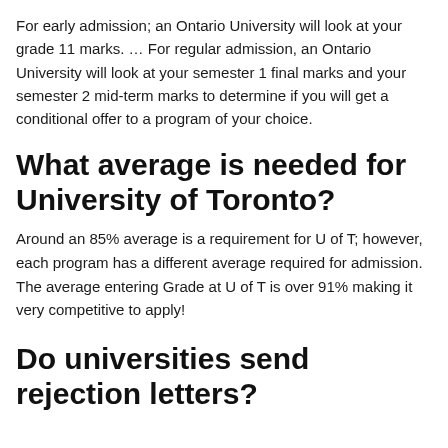For early admission; an Ontario University will look at your grade 11 marks. … For regular admission, an Ontario University will look at your semester 1 final marks and your semester 2 mid-term marks to determine if you will get a conditional offer to a program of your choice.
What average is needed for University of Toronto?
Around an 85% average is a requirement for U of T; however, each program has a different average required for admission. The average entering Grade at U of T is over 91% making it very competitive to apply!
Do universities send rejection letters?